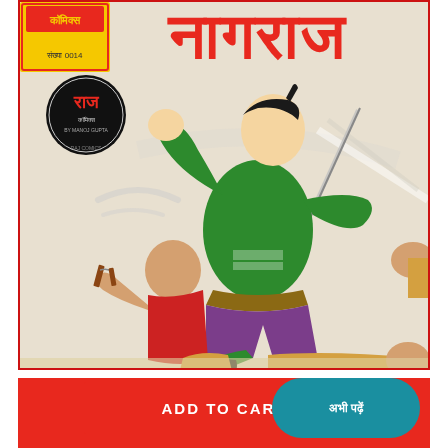[Figure (illustration): Raj Comics cover page showing a Hindi comic book titled in Devanagari script (Nagraj). Features a muscular superhero in a green outfit with purple shorts and black boots, fighting two villains. One villain is bald in red clothes, another is on the ground. A sword is visible. The Raj Comics logo and issue number 0014 are visible in the top left corner.]
ADD TO CART
अभी पढ़ें